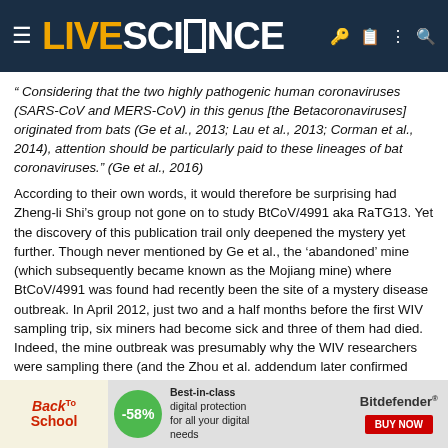LIVE SCIENCE
“ Considering that the two highly pathogenic human coronaviruses (SARS-CoV and MERS-CoV) in this genus [the Betacoronaviruses] originated from bats (Ge et al., 2013; Lau et al., 2013; Corman et al., 2014), attention should be particularly paid to these lineages of bat coronaviruses.” (Ge et al., 2016)
According to their own words, it would therefore be surprising had Zheng-li Shi’s group not gone on to study BtCoV/4991 aka RaTG13. Yet the discovery of this publication trail only deepened the mystery yet further. Though never mentioned by Ge et al., the ‘abandoned’ mine (which subsequently became known as the Mojiang mine) where BtCoV/4991 was found had recently been the site of a mystery disease outbreak. In April 2012, just two and a half months before the first WIV sampling trip, six miners had become sick and three of them had died. Indeed, the mine outbreak was presumably why the WIV researchers were sampling there (and the Zhou et al. addendum later confirmed this).
The nature of the 2012 disease outbreak became much clearer with
[Figure (screenshot): Advertisement banner: Back to School promotion with Bitdefender, -58% discount badge, 'Best-in-class digital protection for all your digital needs']